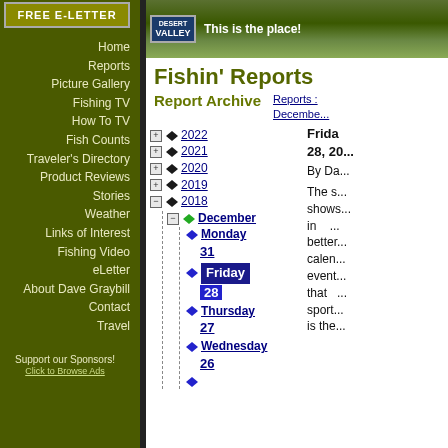[Figure (screenshot): FREE E-LETTER banner button in top left sidebar]
Home
Reports
Picture Gallery
Fishing TV
How To TV
Fish Counts
Traveler's Directory
Product Reviews
Stories
Weather
Links of Interest
Fishing Video
eLetter
About Dave Graybill
Contact
Travel
Support our Sponsors!
[Figure (photo): Desert Valley scenic banner with lake/canyon photo and 'This is the place!' tagline]
Fishin' Reports
Report Archive
Reports: December
[Figure (other): Tree navigation showing years 2022, 2021, 2020, 2019, 2018 with fish icons; 2018 expanded to show December, then Monday 31, Friday 28, Thursday 27, Wednesday 26]
Friday 28, 20... By Da... The s... shows... in ... better... calen... event... that ... sport... is the...